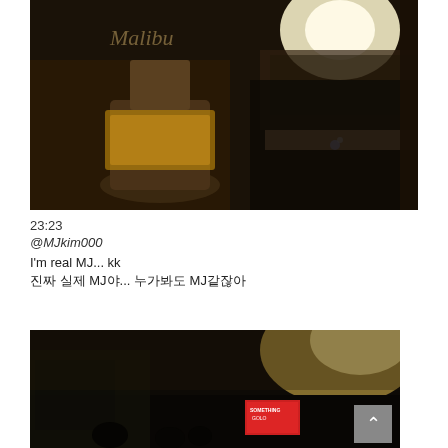[Figure (photo): Dark concert/event photo showing a drink/bottle in foreground with stage lighting and crowd in background]
23:23
@MJkim000
I'm real MJ... kk
진짜 실제 MJ야... 누가봐도 MJ같잖아
[Figure (photo): Dark nighttime outdoor event photo with stage lighting, crowd silhouettes, and a red banner/sign visible]